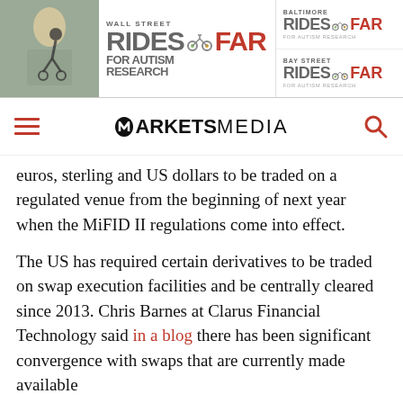[Figure (infographic): Banner advertisement for Wall Street Rides FAR, Baltimore Rides FAR, and Bay Street Rides FAR for Autism Research, with an October date partially visible]
MARKETS MEDIA
euros, sterling and US dollars to be traded on a regulated venue from the beginning of next year when the MiFID II regulations come into effect.
The US has required certain derivatives to be traded on swap execution facilities and be centrally cleared since 2013. Chris Barnes at Clarus Financial Technology said in a blog there has been significant convergence with swaps that are currently made available